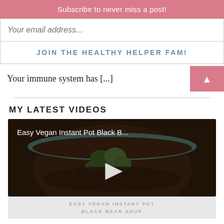Subscribe to never miss a post!
Your email address...
JOIN THE HEALTHY HELPER FAM!
Your immune system has [...]
MY LATEST VIDEOS
[Figure (screenshot): Video thumbnail showing a bowl of Easy Vegan Instant Pot Black Bean Soup with broccoli, with a play button overlay]
EASY VEGAN INSTANT POT BLACK BEAN SOUP